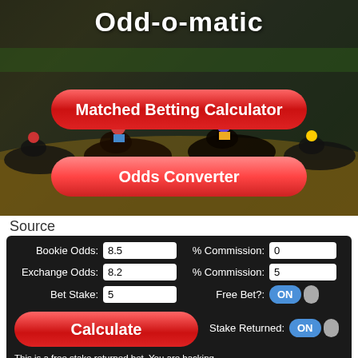[Figure (screenshot): Horse racing photo background with dark overlay showing multiple horses and jockeys racing]
Odd-o-matic
Matched Betting Calculator
Odds Converter
Source
| Field | Value | Field | Value |
| --- | --- | --- | --- |
| Bookie Odds: | 8.5 | % Commission: | 0 |
| Exchange Odds: | 8.2 | % Commission: | 5 |
| Bet Stake: | 5 | Free Bet?: | ON |
| Calculate |  | Stake Returned: | ON |
This is a free stake returned bet. You are backing 5.00@8.50 and laying 5.21@8.20. Bet carefully